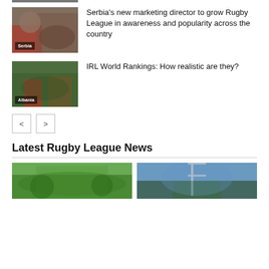[Figure (photo): Partial top image of rugby players, cropped at top of page]
[Figure (photo): Rugby players celebrating with trophy, labeled Serbia]
Serbia's new marketing director to grow Rugby League in awareness and popularity across the country
[Figure (photo): Rugby players running on field, labeled Albania]
IRL World Rankings: How realistic are they?
< >
Latest Rugby League News
[Figure (photo): Team photo of rugby league players in green jerseys]
[Figure (photo): Rugby stadium with goal posts under blue sky]